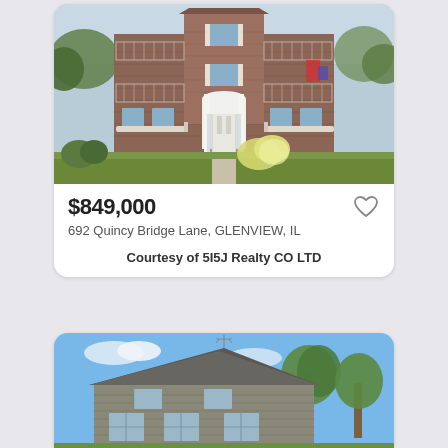[Figure (photo): Brick multi-story apartment building with white columns at entrance, balconies on both sides, and flowering bushes in front]
$849,000
692 Quincy Bridge Lane, GLENVIEW, IL
Courtesy of 5I5J Realty CO LTD
[Figure (photo): Partial view of a two-story suburban home with gray/brown siding and trees, blue sky background]